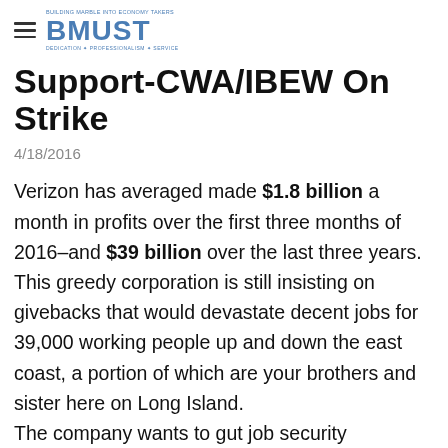BMUST — BUILDING MARBLE INTO ECONOMY TAKERS / DEDICATION • PROFESSIONALISM • SERVICE
Support-CWA/IBEW On Strike
4/18/2016
Verizon has averaged made $1.8 billion a month in profits over the first three months of 2016–and $39 billion over the last three years. This greedy corporation is still insisting on givebacks that would devastate decent jobs for 39,000 working people up and down the east coast, a portion of which are your brothers and sister here on Long Island. The company wants to gut job security protections, contract out more work, do away